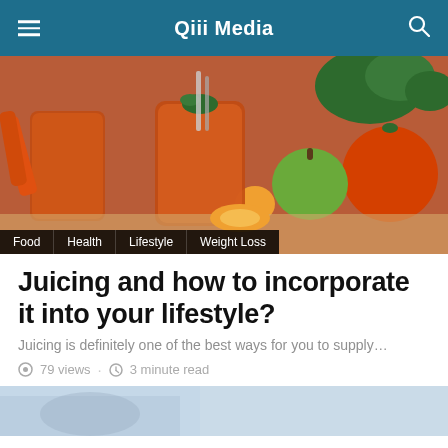Qiii Media
[Figure (photo): Jars of fresh carrot/vegetable juice with oranges, green apple, and herbs on a wooden surface]
Food | Health | Lifestyle | Weight Loss
Juicing and how to incorporate it into your lifestyle?
Juicing is definitely one of the best ways for you to supply…
79 views · 3 minute read
[Figure (photo): Partial bottom image preview of another article]